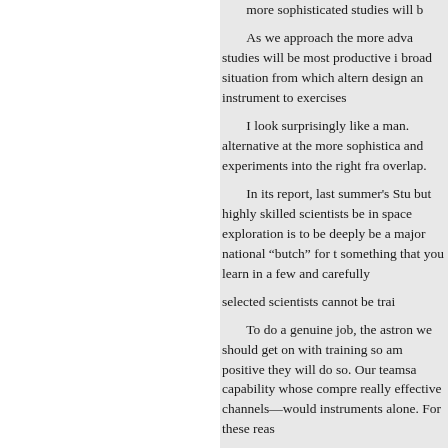more sophisticated studies will b...
As we approach the more adva... studies will be most productive i... broad situation from which altern... design an instrument to exercises...
I look surprisingly like a man. alternative at the more sophistica... and experiments into the right fra... overlap.
In its report, last summer's Stu... but highly skilled scientists be in... space exploration is to be deeply... be a major national “butch” for t... something that you learn in a few... and carefully
selected scientists cannot be trai...
To do a genuine job, the astron... we should get on with training so... am positive they will do so. Our... teamsa capability whose compre... really effective channels—would... instruments alone. For these reas...